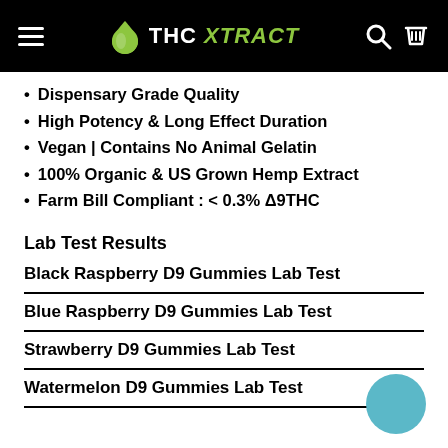THC XTRACT
Dispensary Grade Quality
High Potency & Long Effect Duration
Vegan | Contains No Animal Gelatin
100% Organic & US Grown Hemp Extract
Farm Bill Compliant : < 0.3% Δ9THC
Lab Test Results
Black Raspberry D9 Gummies Lab Test
Blue Raspberry D9 Gummies Lab Test
Strawberry D9 Gummies Lab Test
Watermelon D9 Gummies Lab Test